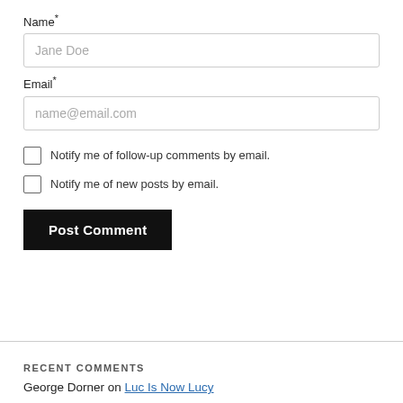Name*
[Figure (other): Text input field with placeholder 'Jane Doe']
Email*
[Figure (other): Text input field with placeholder 'name@email.com']
Notify me of follow-up comments by email.
Notify me of new posts by email.
[Figure (other): Black 'Post Comment' button]
RECENT COMMENTS
George Dorner on Luc Is Now Lucy